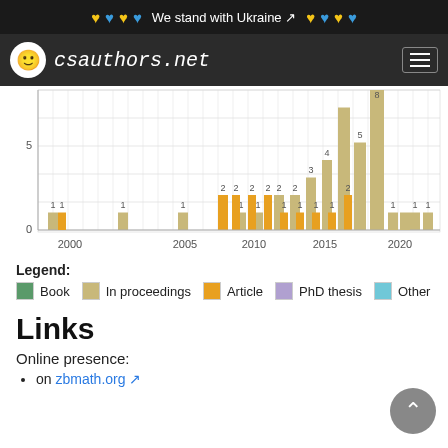We stand with Ukraine
csauthors.net
[Figure (bar-chart): Publications per year]
Legend:
Book  In proceedings  Article  PhD thesis  Other
Links
Online presence:
on zbmath.org